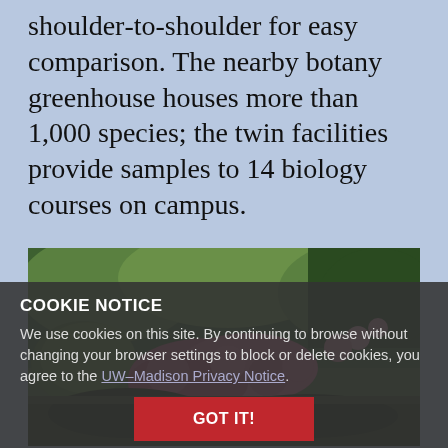shoulder-to-shoulder for easy comparison. The nearby botany greenhouse houses more than 1,000 species; the twin facilities provide samples to 14 biology courses on campus.
[Figure (photo): Outdoor garden with green shrubs, pink flowering plants, and lush greenery.]
COOKIE NOTICE
We use cookies on this site. By continuing to browse without changing your browser settings to block or delete cookies, you agree to the UW–Madison Privacy Notice.